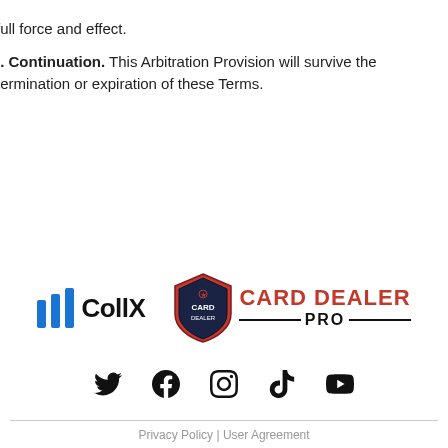full force and effect.
i. Continuation. This Arbitration Provision will survive the termination or expiration of these Terms.
[Figure (logo): CollX logo with blue vertical bars and black text, alongside Card Dealer Pro logo with red text and shield emblem]
[Figure (infographic): Social media icons row: Twitter, Facebook, Instagram, TikTok, YouTube]
Privacy Policy | User Agreement